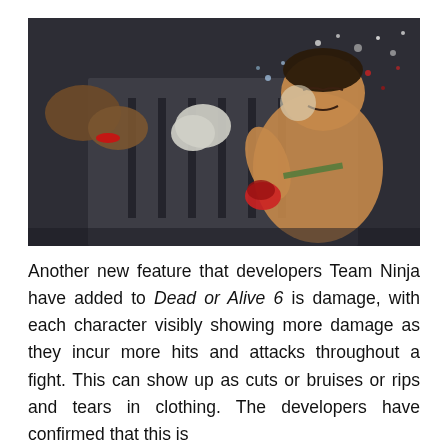[Figure (photo): Screenshot from Dead or Alive 6 video game showing two fighters: one character delivering a punch to the face of another shirtless male character who is recoiling from the impact with debris/particles flying around. Dark atmospheric arena background.]
Another new feature that developers Team Ninja have added to Dead or Alive 6 is damage, with each character visibly showing more damage as they incur more hits and attacks throughout a fight. This can show up as cuts or bruises or rips and tears in clothing. The developers have confirmed that this is